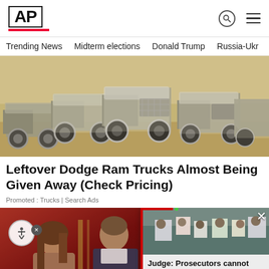AP
Trending News
Midterm elections
Donald Trump
Russia-Ukr
[Figure (photo): Row of covered/wrapped Dodge Ram trucks parked on sandy ground, sepia-toned image]
Leftover Dodge Ram Trucks Almost Being Given Away (Check Pricing)
Promoted : Trucks | Search Ads
[Figure (photo): Two people at a red-backdrop event, partial view]
[Figure (photo): Crowd of protesters with signs at a rally, related to Michigan abortion ruling]
Judge: Prosecutors cannot enforce Michigan's aborti...